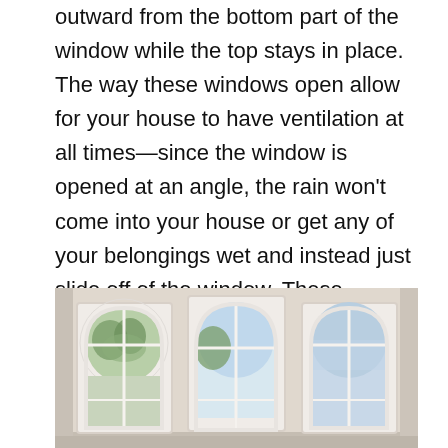outward from the bottom part of the window while the top stays in place. The way these windows open allow for your house to have ventilation at all times—since the window is opened at an angle, the rain won't come into your house or get any of your belongings wet and instead just slide off of the window. These windows are usually some of the most airtight windows you can buy, meaning they are better than most other windows when it comes to energy efficiency and insulation.
[Figure (photo): Interior room photo showing three arched windows with white frames and mullions, set in a beige/tan wall. The windows have rounded arched tops and rectangular lower panes divided into a grid pattern. Trees and sky are visible through the glass.]